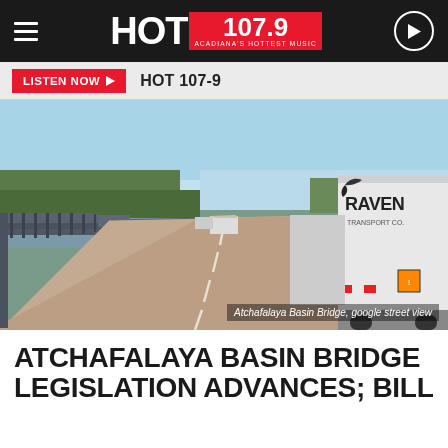HOT 107.9 — ACADIANA'S HOTTEST MUSIC
LISTEN NOW ▶  HOT 107-9
[Figure (photo): Aerial/road-level view of Atchafalaya Basin Bridge with a large Raven Transport Co. truck on the right lane and the bridge extending into the distance over water and trees. Caption: Atchafalaya Basin Bridge, google street view]
Atchafalaya Basin Bridge, google street view
ATCHAFALAYA BASIN BRIDGE LEGISLATION ADVANCES; BILL